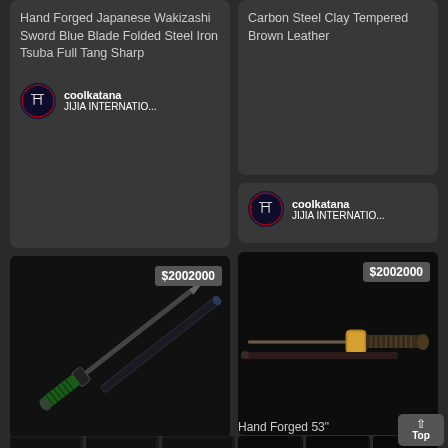Hand Forged Japanese Wakizashi Sword Blue Blade Folded Steel Iron Tsuba Full Tang Sharp
coolkatana
JIJIA INTERNATIO...
Carbon Steel Clay Tempered Brown Leather
coolkatana
JIJIA INTERNATIO...
[Figure (photo): Japanese sword/katana with green handle wrap on dark background, price badge showing $2002000]
[Figure (photo): Japanese sword/katana with gold tsuba on dark background, price badge showing $2002000]
[Figure (photo): Three thumbnail images of sword details - handle, tsuba detail, and blade]
Hand Forged 53"